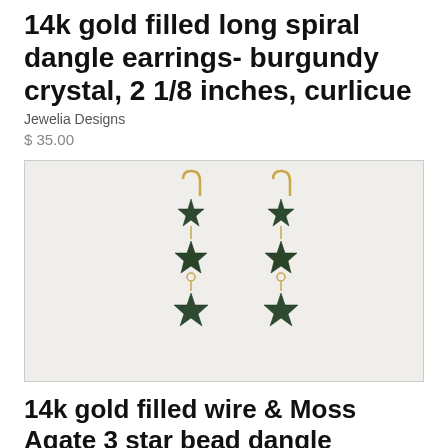14k gold filled long spiral dangle earrings- burgundy crystal, 2 1/8 inches, curlicue
Jewelia Designs
$ 35.00
[Figure (photo): Photo of 14k gold filled wire and Moss Agate 3 star bead dangle earrings on white background. Two earrings shown side by side, each with three dark green star-shaped beads connected by gold wire links, with a gold hook at top.]
14k gold filled wire & Moss Agate 3 star bead dangle earrings-2 inch long, stars
Jewelia Designs
$ 22.00 Sold Out